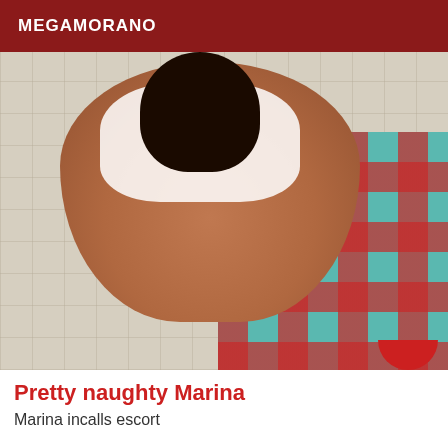MEGAMORANO
[Figure (photo): A photograph of a person bending over in a bathroom/tiled room setting, wearing a white top and black stockings, with a colorful checkered towel/mat visible]
Pretty naughty Marina
Marina incalls escort